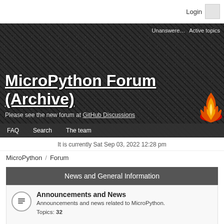Login
MicroPython Forum (Archive)
Please see the new forum at GitHub Discussions
Unanswere... | Active topics
FAQ  Search  The team
It is currently Sat Sep 03, 2022 12:28 pm
MicroPython / Forum
News and General Information
Announcements and News
Announcements and news related to MicroPython.
Topics: 32
Newsletter archive